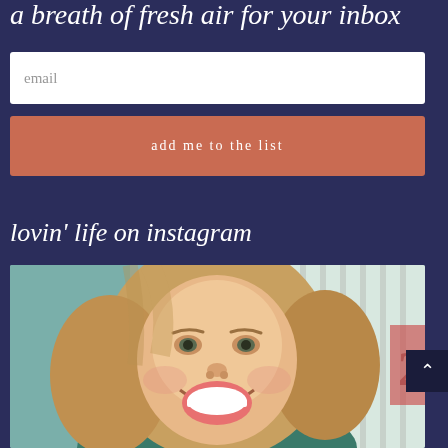a breath of fresh air for your inbox
email
add me to the list
lovin' life on instagram
[Figure (photo): A smiling blonde woman taking a selfie indoors, with vertical blinds and light in the background.]